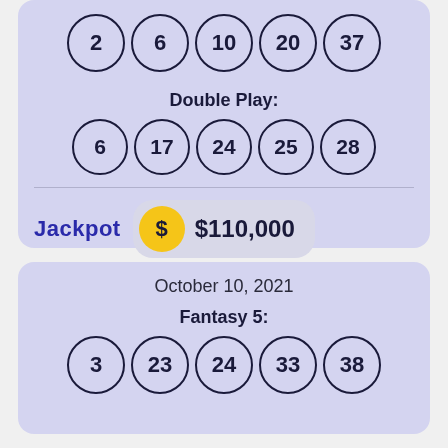[Figure (infographic): Lottery card top portion showing numbers 2, 6, 10, 20, 37 in circles, Double Play label with numbers 6, 17, 24, 25, 28 in circles, and Jackpot $110,000]
Double Play:
Jackpot  $110,000
October 10, 2021
Fantasy 5:
[Figure (infographic): Lottery card bottom portion showing Fantasy 5 for October 10 2021 with numbers 3, 23, 24, 33, 38]